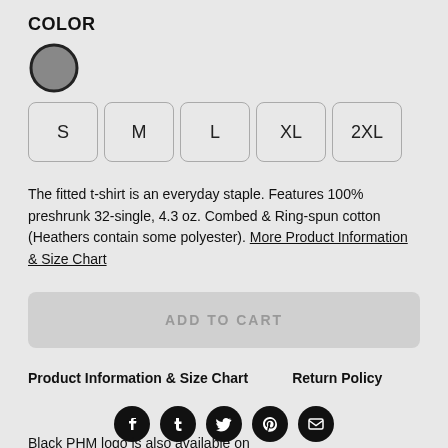COLOR
[Figure (other): Gray color swatch circle with dark border, selected state]
S
M
L
XL
2XL
The fitted t-shirt is an everyday staple. Features 100% preshrunk 32-single, 4.3 oz. Combed & Ring-spun cotton (Heathers contain some polyester). More Product Information & Size Chart
ADD TO CART
Product Information & Size Chart
Return Policy
[Figure (other): Row of social media icons: Facebook, Tumblr, Twitter, Pinterest, Email]
Black PHM logo is also available on